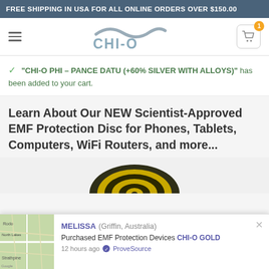FREE SHIPPING IN USA FOR ALL ONLINE ORDERS OVER $150.00
[Figure (logo): CHI-O brand logo with wave graphic above stylized text CHI-O]
“CHI-O PHI – PANCE DATU (+60% SILVER WITH ALLOYS)” has been added to your cart.
Learn About Our NEW Scientist-Approved EMF Protection Disc for Phones, Tablets, Computers, WiFi Routers, and more...
[Figure (illustration): Circular disc with concentric black and yellow rings, partially visible at the bottom of the content area]
MELISSA (Griffin, Australia) Purchased EMF Protection Devices CHI-O GOLD 12 hours ago ✓ ProveSource